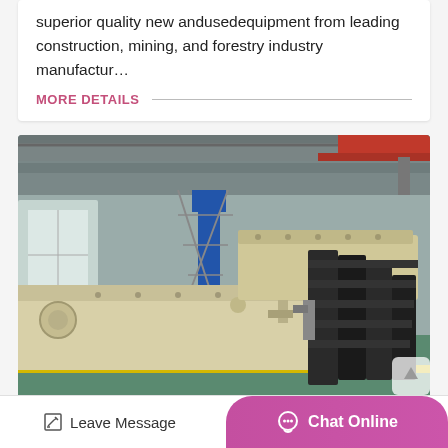superior quality new andusedequipment from leading construction, mining, and forestry industry manufactur…
MORE DETAILS
[Figure (photo): Industrial vibrating screen machinery (large cream/yellow colored units) in a factory/warehouse setting with overhead cranes, steel structure roof, and green floor.]
Leave Message
Chat Online